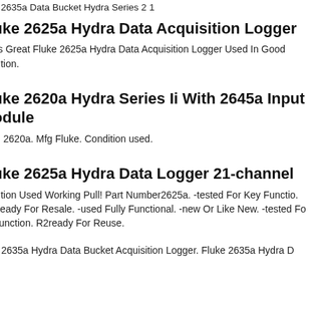e 2635a Data Bucket Hydra Series 2 1
uke 2625a Hydra Data Acquisition Logger
ks Great Fluke 2625a Hydra Data Acquisition Logger Used In Good dition.
uke 2620a Hydra Series Ii With 2645a Input odule
el 2620a. Mfg Fluke. Condition used.
uke 2625a Hydra Data Logger 21-channel
dition Used Working Pull! Part Number2625a. -tested For Key Functio. Ready For Resale. -used Fully Functional. -new Or Like New. -tested Fo Function. R2ready For Reuse.
e 2635a Hydra Data Bucket Acquisition Logger. Fluke 2635a Hydra D